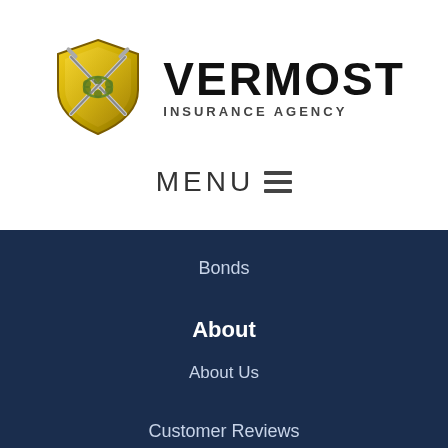[Figure (logo): Vermost Insurance Agency logo with gold shield and crossed swords, beside bold text VERMOST INSURANCE AGENCY]
MENU ≡
Bonds
About
About Us
Customer Reviews